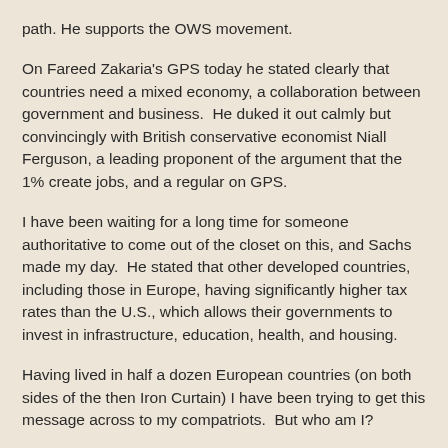path. He supports the OWS movement.
On Fareed Zakaria's GPS today he stated clearly that countries need a mixed economy, a collaboration between government and business.  He duked it out calmly but convincingly with British conservative economist Niall Ferguson, a leading proponent of the argument that the 1% create jobs, and a regular on GPS.
I have been waiting for a long time for someone authoritative to come out of the closet on this, and Sachs made my day.  He stated that other developed countries, including those in Europe, having significantly higher tax rates than the U.S., which allows their governments to invest in infrastructure, education, health, and housing.
Having lived in half a dozen European countries (on both sides of the then Iron Curtain) I have been trying to get this message across to my compatriots.  But who am I?
Here is an excerpt from Sach's bio as it appears on the home page of the Earth Institute at Columbia University